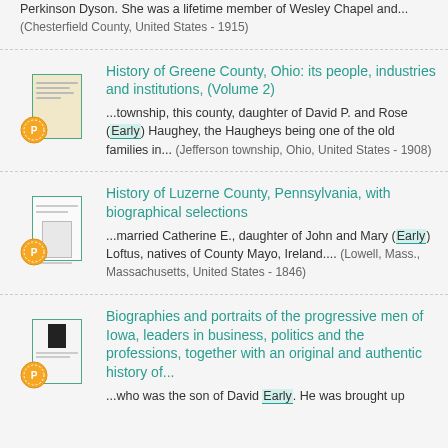Perkinson Dyson. She was a lifetime member of Wesley Chapel and... (Chesterfield County, United States - 1915)
[Figure (illustration): Book thumbnail with badge for History of Greene County Ohio]
History of Greene County, Ohio: its people, industries and institutions, (Volume 2)
...township, this county, daughter of David P. and Rose (Early) Haughey, the Haugheys being one of the old families in... (Jefferson township, Ohio, United States - 1908)
[Figure (illustration): Book thumbnail with badge for History of Luzerne County Pennsylvania]
History of Luzerne County, Pennsylvania, with biographical selections
...married Catherine E., daughter of John and Mary (Early) Loftus, natives of County Mayo, Ireland.... (Lowell, Mass., Massachusetts, United States - 1846)
[Figure (illustration): Book thumbnail with badge for Biographies and portraits of the progressive men of Iowa]
Biographies and portraits of the progressive men of Iowa, leaders in business, politics and the professions, together with an original and authentic history of...
...who was the son of David Early. He was brought up